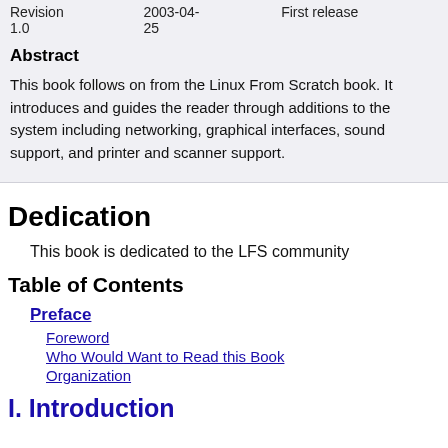| Revision | Date | Description |
| --- | --- | --- |
| 1.0 | 2003-04-25 | First release |
Abstract
This book follows on from the Linux From Scratch book. It introduces and guides the reader through additions to the system including networking, graphical interfaces, sound support, and printer and scanner support.
Dedication
This book is dedicated to the LFS community
Table of Contents
Preface
Foreword
Who Would Want to Read this Book
Organization
I. Introduction